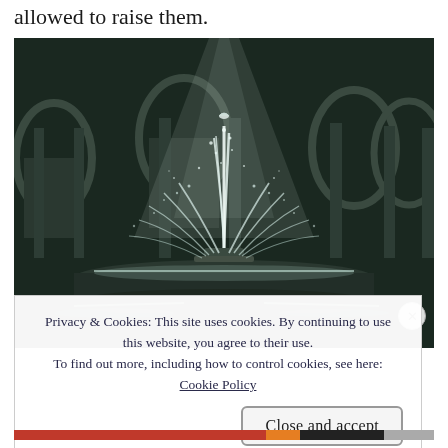allowed to raise them.
[Figure (photo): Photograph of an outdoor fountain with water spraying upward, lit with bright light against a dark background with arched stone columns in the background.]
Privacy & Cookies: This site uses cookies. By continuing to use this website, you agree to their use.
To find out more, including how to control cookies, see here: Cookie Policy
Close and accept